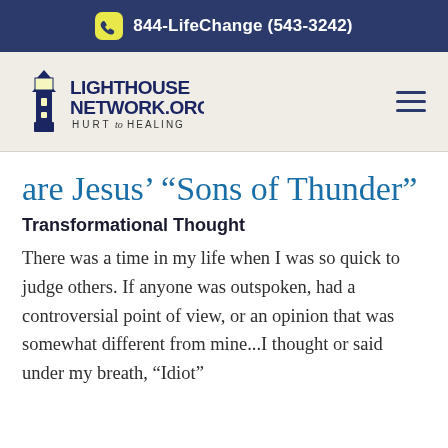844-LifeChange (543-3242)
[Figure (logo): Lighthouse Network logo with lighthouse icon and text LIGHTHOUSENETWORK.ORG HURT to HEALING]
are Jesus’ “Sons of Thunder”
Transformational Thought
There was a time in my life when I was so quick to judge others. If anyone was outspoken, had a controversial point of view, or an opinion that was somewhat different from mine...I thought or said under my breath, “Idiot”